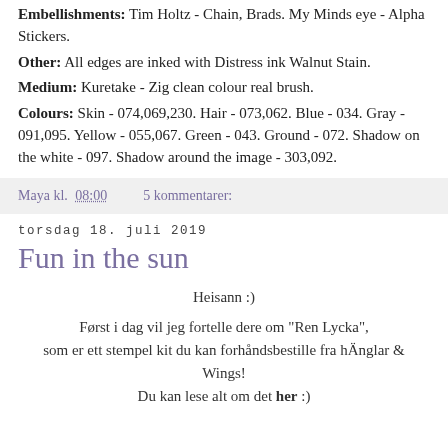Embellishments: Tim Holtz - Chain, Brads. My Minds eye - Alpha Stickers.
Other: All edges are inked with Distress ink Walnut Stain.
Medium: Kuretake - Zig clean colour real brush.
Colours: Skin - 074,069,230. Hair - 073,062. Blue - 034. Gray - 091,095. Yellow - 055,067. Green - 043. Ground - 072. Shadow on the white - 097. Shadow around the image - 303,092.
Maya kl. 08:00    5 kommentarer:
torsdag 18. juli 2019
Fun in the sun
Heisann :)
Først i dag vil jeg fortelle dere om "Ren Lycka", som er ett stempel kit du kan forhåndsbestille fra hÄnglar & Wings!
Du kan lese alt om det her :)